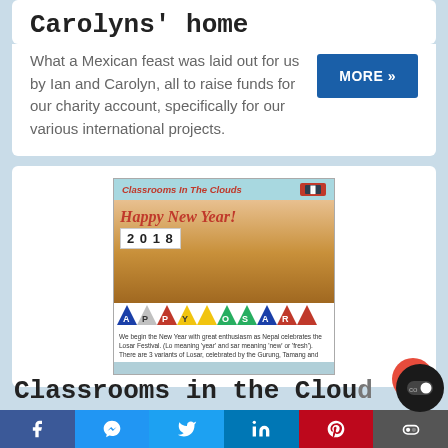Carolyns' home
What a Mexican feast was laid out for us by Ian and Carolyn, all to raise funds for our charity account, specifically for our various international projects.
[Figure (illustration): Classrooms in the Clouds Happy New Year 2018 promotional image with gold bells/ornaments, colorful bunting flags, and caption text about Nepal's Losar Festival]
Classrooms in the Clou...
Facebook | Messenger | Twitter | LinkedIn | Pinterest | Toggle